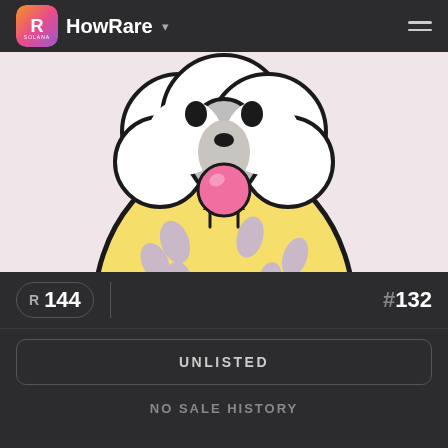HowRare
[Figure (illustration): NFT artwork of a cartoon dog/creature with white fluffy head, gray snout, black eyes, blowing a pink bubble gum bubble, wearing a yellow spotted hoodie, on a pink background]
R 144
# 132
UNLISTED
NO SALE HISTORY